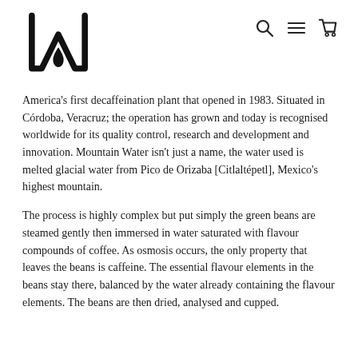[Figure (logo): Stylized M logo with a droplet shape at the bottom center of the M letterform, in black]
[Figure (other): Navigation icons: search (magnifying glass), hamburger menu (three horizontal lines), and shopping cart]
America's first decaffeination plant that opened in 1983. Situated in Córdoba, Veracruz; the operation has grown and today is recognised worldwide for its quality control, research and development and innovation. Mountain Water isn't just a name, the water used is melted glacial water from Pico de Orizaba [Citlaltépetl], Mexico's highest mountain.
The process is highly complex but put simply the green beans are steamed gently then immersed in water saturated with flavour compounds of coffee. As osmosis occurs, the only property that leaves the beans is caffeine. The essential flavour elements in the beans stay there, balanced by the water already containing the flavour elements. The beans are then dried, analysed and cupped.